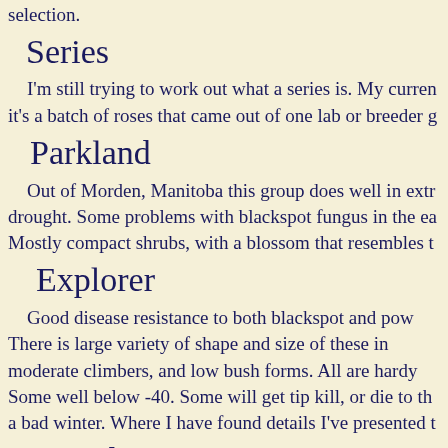selection.
Series
I'm still trying to work out what a series is. My current thinking is it's a batch of roses that came out of one lab or breeder g
Parkland
Out of Morden, Manitoba this group does well in extreme drought. Some problems with blackspot fungus in the east. Mostly compact shrubs, with a blossom that resembles t
Explorer
Good disease resistance to both blackspot and pow There is large variety of shape and size of these in moderate climbers, and low bush forms. All are hardy Some well below -40. Some will get tip kill, or die to th a bad winter. Where I have found details I've presented t
Canadian Artists
The goal here was to have roses that could be Canada. The descriptions show them to do tolerably